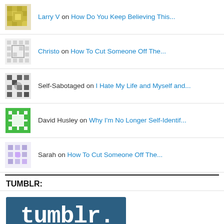Larry V on How Do You Keep Believing This...
Christo on How To Cut Someone Off The...
Self-Sabotaged on I Hate My Life and Myself and...
David Husley on Why I'm No Longer Self-Identif...
Sarah on How To Cut Someone Off The...
TUMBLR:
[Figure (logo): Tumblr logo - white text 'tumblr.' on dark blue/teal background]
TWITTER:
[Figure (screenshot): Twitter widget preview box (rounded rectangle outline)]